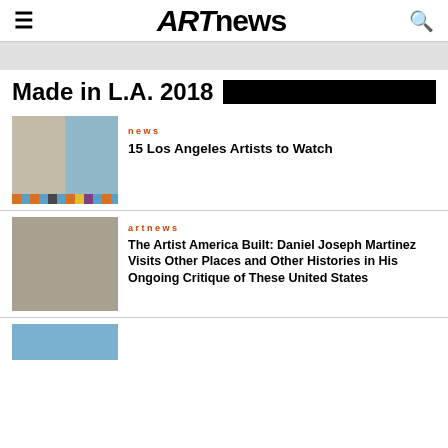ARTnews
Made in L.A. 2018
news
15 Los Angeles Artists to Watch
artnews
The Artist America Built: Daniel Joseph Martinez Visits Other Places and Other Histories in His Ongoing Critique of These United States
[Figure (photo): Thumbnail image at bottom, blue sky/landscape]